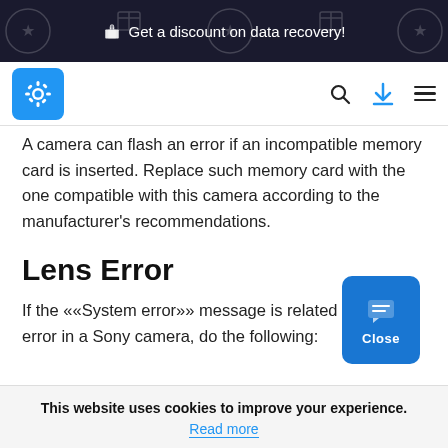Get a discount on data recovery!
[Figure (screenshot): Website navigation bar with blue gear/settings logo, search icon, download icon, and hamburger menu]
A camera can flash an error if an incompatible memory card is inserted. Replace such memory card with the one compatible with this camera according to the manufacturer's recommendations.
Lens Error
If the ««System error»» message is related to a lens error in a Sony camera, do the following:
This website uses cookies to improve your experience. Read more